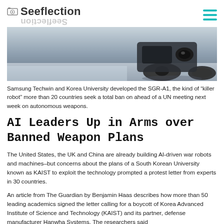Seeflection
[Figure (photo): Close-up photo of what appears to be a robotic or wheeled military machine, SGR-A1 style robot, with dark mechanical components visible.]
Samsung Techwin and Korea University developed the SGR-A1, the kind of "killer robot" more than 20 countries seek a total ban on ahead of a UN meeting next week on autonomous weapons.
AI Leaders Up in Arms over Banned Weapon Plans
The United States, the UK and China are already building AI-driven war robots and machines–but concerns about the plans of a South Korean University known as KAIST to exploit the technology prompted a protest letter from experts in 30 countries.
An article from The Guardian by Benjamin Haas describes how more than 50 leading academics signed the letter calling for a boycott of Korea Advanced Institute of Science and Technology (KAIST) and its partner, defense manufacturer Hanwha Systems. The researchers said